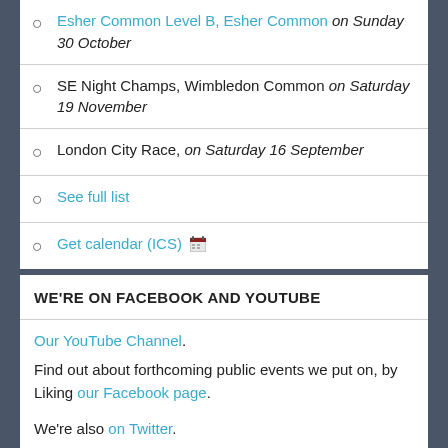Esher Common Level B, Esher Common on Sunday 30 October
SE Night Champs, Wimbledon Common on Saturday 19 November
London City Race, on Saturday 16 September
See full list
Get calendar (ICS)
WE'RE ON FACEBOOK AND YOUTUBE
Our YouTube Channel.
Find out about forthcoming public events we put on, by Liking our Facebook page.
We're also on Twitter.